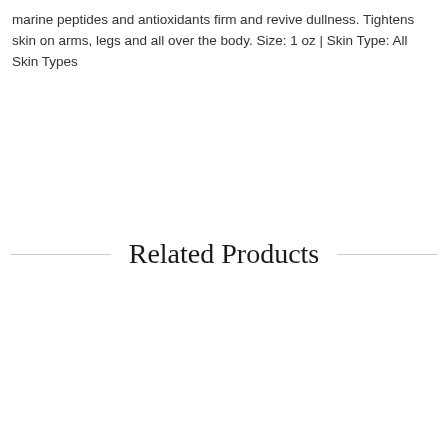marine peptides and antioxidants firm and revive dullness. Tightens skin on arms, legs and all over the body. Size: 1 oz | Skin Type: All Skin Types
Related Products